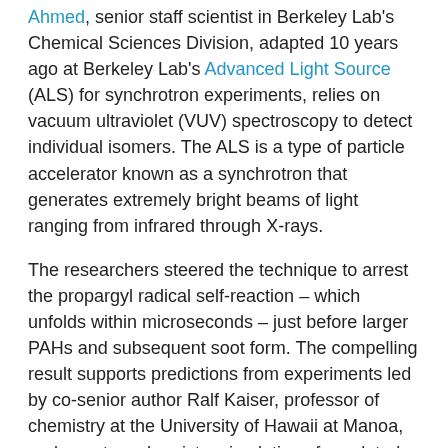Ahmed, senior staff scientist in Berkeley Lab's Chemical Sciences Division, adapted 10 years ago at Berkeley Lab's Advanced Light Source (ALS) for synchrotron experiments, relies on vacuum ultraviolet (VUV) spectroscopy to detect individual isomers. The ALS is a type of particle accelerator known as a synchrotron that generates extremely bright beams of light ranging from infrared through X-rays.
The researchers steered the technique to arrest the propargyl radical self-reaction – which unfolds within microseconds – just before larger PAHs and subsequent soot form. The compelling result supports predictions from experiments led by co-senior author Ralf Kaiser, professor of chemistry at the University of Hawaii at Manoa, and quantum chemistry simulations formulated by co-senior author Alexander Mebel, professor of chemistry at Florida International University.
They believe that the finding could one day lead to cleaner combustion engines. Having more efficient gas engines, some analysts say, is still important, because it may take another 25